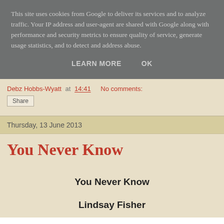This site uses cookies from Google to deliver its services and to analyze traffic. Your IP address and user-agent are shared with Google along with performance and security metrics to ensure quality of service, generate usage statistics, and to detect and address abuse.
LEARN MORE    OK
Debz Hobbs-Wyatt at 14:41   No comments:
Share
Thursday, 13 June 2013
You Never Know
You Never Know
Lindsay Fisher